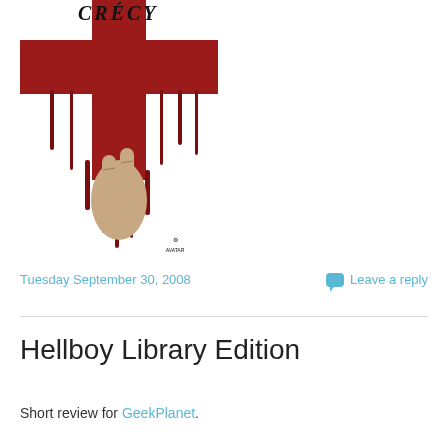[Figure (photo): Book cover of 'Crécy' — a dark red cross dripping blood on white background, with a hand making a two-finger gesture (archer's salute), and publisher logo at bottom right]
Tuesday September 30, 2008
Leave a reply
Hellboy Library Edition
Short review for GeekPlanet.